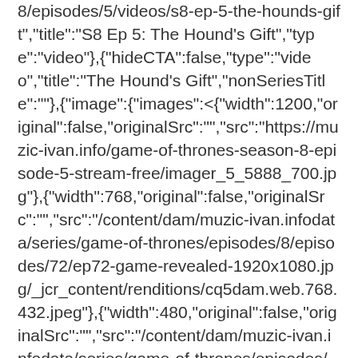8/episodes/5/videos/s8-ep-5-the-hounds-gift","title":"S8 Ep 5: The Hound's Gift","type":"video"},{"hideCTA":false,"type":"video","title":"The Hound's Gift","nonSeriesTitle":""},{"image":{"images":<{"width":1200,"original":false,"originalSrc":"","src":"https://muzic-ivan.info/game-of-thrones-season-8-episode-5-stream-free/imager_5_5888_700.jpg"},{"width":768,"original":false,"originalSrc":"","src":"/content/dam/muzic-ivan.infodata/series/game-of-thrones/episodes/8/episodes/72/ep72-game-revealed-1920x1080.jpg/_jcr_content/renditions/cq5dam.web.768.432.jpeg"},{"width":480,"original":false,"originalSrc":"","src":"/content/dam/muzic-ivan.infodata/series/game-of-thrones/episodes/8/episodes/72/ep72-game-revealed-1920x1080.jpg/_jcr_content/renditions/cq5dam.web.